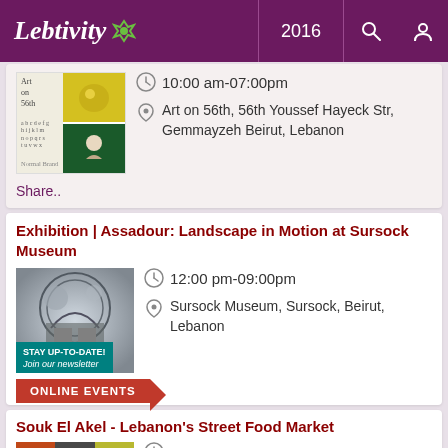Lebtivity 2016
10:00 am-07:00pm
Art on 56th, 56th Youssef Hayeck Str, Gemmayzeh Beirut, Lebanon
Share..
Exhibition | Assadour: Landscape in Motion at Sursock Museum
12:00 pm-09:00pm
Sursock Museum, Sursock, Beirut, Lebanon
STAY UP-TO-DATE! Join our newsletter
ONLINE EVENTS
Souk El Akel - Lebanon's Street Food Market
05:00 pm-11:00pm
Foch Allenby - Behind Fransabank